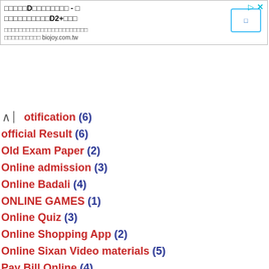[Figure (other): Advertisement banner with Chinese text, D2+ branding, a button, and biojoy.com.tw domain]
otification (6)
official Result (6)
Old Exam Paper (2)
Online admission (3)
Online Badali (4)
ONLINE GAMES (1)
Online Quiz (3)
Online Shopping App (2)
Online Sixan Video materials (5)
Pay Bill Online (4)
PDF Apps (1)
Phone Review (1)
Photo Editing App (29)
Police bharati 2021 (11)
Poll (1)